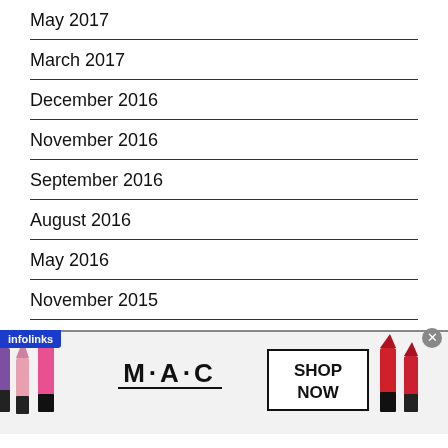May 2017
March 2017
December 2016
November 2016
September 2016
August 2016
May 2016
November 2015
September 2015
…t 2015
[Figure (photo): MAC Cosmetics advertisement showing lipsticks in purple, pink, and red colors alongside M·A·C logo and a SHOP NOW button]